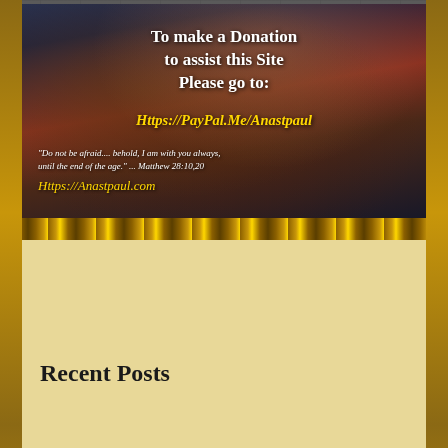[Figure (photo): Religious painting (Madonna and Child) with overlaid donation text. White bold text reads 'To make a Donation to assist this Site Please go to:'. Yellow italic text shows 'Https://PayPal.Me/Anastpaul'. White italic script shows Bible quote from Matthew 28:10,20. Yellow script shows 'Https://Anastpaul.com'.]
Your help is vital!
Recent Posts